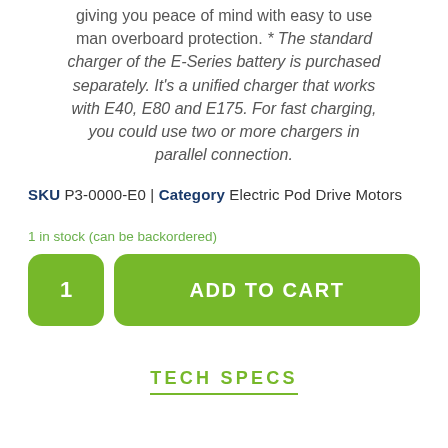giving you peace of mind with easy to use man overboard protection. * The standard charger of the E-Series battery is purchased separately. It's a unified charger that works with E40, E80 and E175. For fast charging, you could use two or more chargers in parallel connection.
SKU P3-0000-E0 | Category Electric Pod Drive Motors
1 in stock (can be backordered)
1  ADD TO CART
TECH SPECS